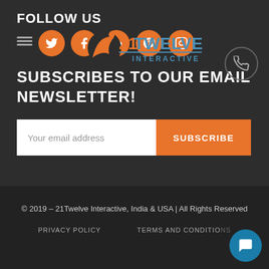FOLLOW US
[Figure (logo): 21Twelve Interactive logo with orange swoosh graphic and blue text]
[Figure (infographic): Social media icons: Twitter, Facebook, LinkedIn, Pinterest, Instagram in orange circles; phone icon in gray circle]
SUBSCRIBES TO OUR EMAIL NEWSLETTER!
[Figure (infographic): Email input field with placeholder 'Your email address' and orange SUBSCRIBE button]
© 2019 – 21Twelve Interactive, India & USA | All Rights Reserved
PRIVACY POLICY   TERMS AND CONDITIONS